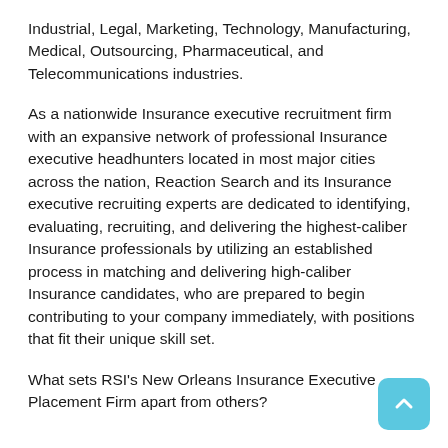Industrial, Legal, Marketing, Technology, Manufacturing, Medical, Outsourcing, Pharmaceutical, and Telecommunications industries.
As a nationwide Insurance executive recruitment firm with an expansive network of professional Insurance executive headhunters located in most major cities across the nation, Reaction Search and its Insurance executive recruiting experts are dedicated to identifying, evaluating, recruiting, and delivering the highest-caliber Insurance professionals by utilizing an established process in matching and delivering high-caliber Insurance candidates, who are prepared to begin contributing to your company immediately, with positions that fit their unique skill set.
What sets RSI's New Orleans Insurance Executive Placement Firm apart from others?